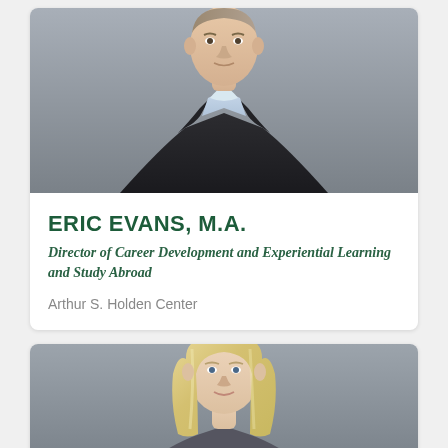[Figure (photo): Professional headshot of Eric Evans, a man in a dark blazer and light blue shirt, photographed against a gray background]
ERIC EVANS, M.A.
Director of Career Development and Experiential Learning and Study Abroad
Arthur S. Holden Center
[Figure (photo): Professional headshot of a woman with blonde hair, photographed against a gray background]